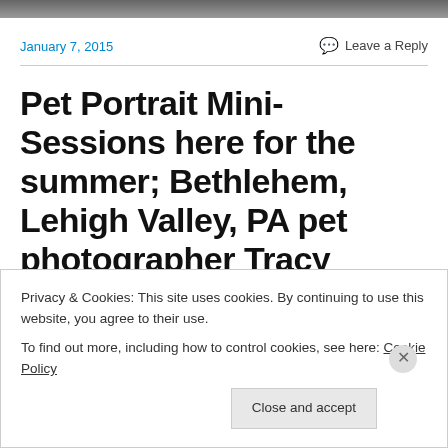[Figure (photo): Dark photo strip at top of page, partially visible]
January 7, 2015
Leave a Reply
Pet Portrait Mini-Sessions here for the summer; Bethlehem, Lehigh Valley, PA pet photographer Tracy Bodeo
Privacy & Cookies: This site uses cookies. By continuing to use this website, you agree to their use.
To find out more, including how to control cookies, see here: Cookie Policy
Close and accept